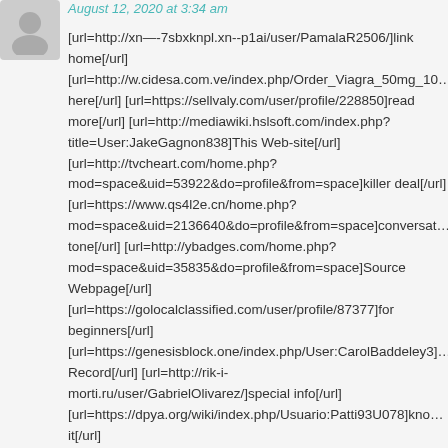August 12, 2020 at 3:34 am
[url=http://xn--7sbxknpl.xn--p1ai/user/PamalaR2506/]link home[/url] [url=http://w.cidesa.com.ve/index.php/Order_Viagra_50mg_10...]here[/url] [url=https://sellvaly.com/user/profile/228850]read more[/url] [url=http://mediawiki.hslsoft.com/index.php?title=User:JakeGagnon838]This Web-site[/url] [url=http://tvcheart.com/home.php?mod=space&uid=53922&do=profile&from=space]killer deal[/url] [url=https://www.qs4l2e.cn/home.php?mod=space&uid=2136640&do=profile&from=space]conversation tone[/url] [url=http://ybadges.com/home.php?mod=space&uid=35835&do=profile&from=space]Source Webpage[/url] [url=https://golocalclassified.com/user/profile/87377]for beginners[/url] [url=https://genesisblock.one/index.php/User:CarolBaddeley3]...Record[/url] [url=http://rik-i-morti.ru/user/GabrielOlivarez/]special info[/url] [url=https://dpya.org/wiki/index.php/Usuario:Patti93U078]know it[/url]